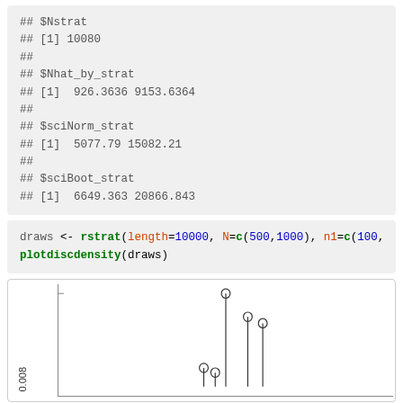## $Nstrat
## [1] 10080
##
## $Nhat_by_strat
## [1]  926.3636 9153.6364
##
## $sciNorm_strat
## [1]  5077.79 15082.21
##
## $sciBoot_strat
## [1]  6649.363 20866.843
draws <- rstrat(length=10000, N=c(500,1000), n1=c(100,
plotdiscdensity(draws)
[Figure (continuous-plot): Bottom portion of a discrete density plot (plotdiscdensity) showing lollipop-style markers with circles at tops of vertical lines. Y-axis label shows 0.008. Plot is partially cut off at the bottom of the page.]